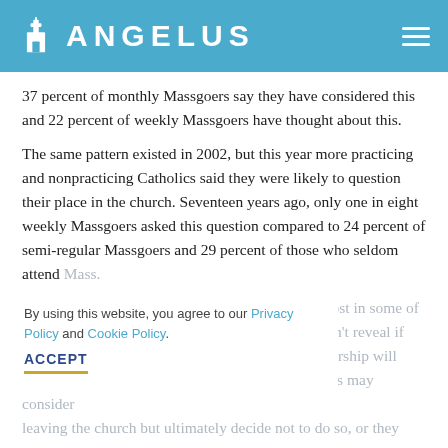ANGELUS
37 percent of monthly Massgoers say they have considered this and 22 percent of weekly Massgoers have thought about this.
The same pattern existed in 2002, but this year more practicing and nonpracticing Catholics said they were likely to question their place in the church. Seventeen years ago, only one in eight weekly Massgoers asked this question compared to 24 percent of semi-regular Massgoers and 29 percent of those who seldom attend Mass.
By using this website, you agree to our Privacy Policy and Cookie Policy. ACCEPT
The report indicates, although this seemed to get lost in some of the coverage of it, that the responses to the poll don't reveal if Catholics who are questioning their church membership will actually decide to leave the church. Many Catholics may consider leaving the church but ultimately decide not to do so, or they may